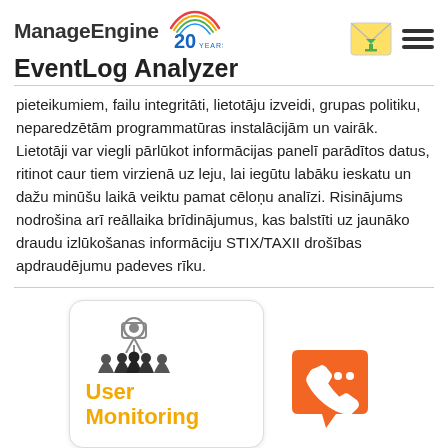ManageEngine 20 YEARS — EventLog Analyzer
pieteikumiem, failu integritāti, lietotāju izveidi, grupas politiku, neparedzētām programmatūras instalācijām un vairāk. Lietotāji var viegli pārlūkot informācijas panelī parādītos datus, ritinot caur tiem virzienā uz leju, lai iegūtu labāku ieskatu un dažu minūšu laikā veiktu pamat cēloņu analīzi. Risinājums nodrošina arī reāllaika brīdinājumus, kas balstīti uz jaunāko draudu izlūkošanas informāciju STIX/TAXII drošības apdraudējumu padeves rīku.
[Figure (illustration): User Monitoring card with icon of person being watched by camera/eye above group of people icons, with orange 'User Monitoring' text]
[Figure (illustration): Orange speech bubble with phone and chat dots icon (support/chat button)]